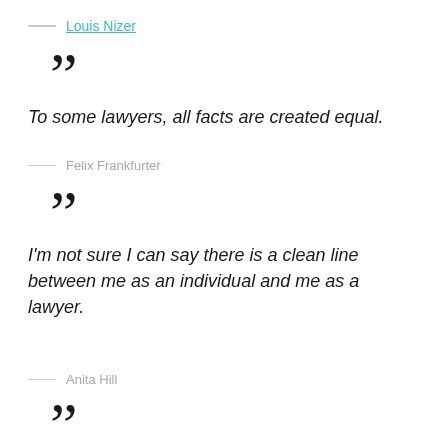— Louis Nizer
””
To some lawyers, all facts are created equal.
— Felix Frankfurter
””
I’m not sure I can say there is a clean line between me as an individual and me as a lawyer.
— Anita Hill
””